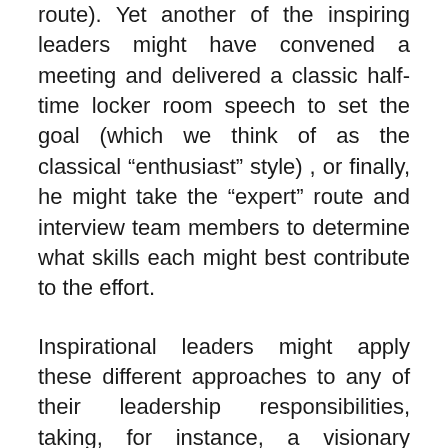route). Yet another of the inspiring leaders might have convened a meeting and delivered a classic half-time locker room speech to set the goal (which we think of as the classical “enthusiast” style) , or finally, he might take the “expert” route and interview team members to determine what skills each might best contribute to the effort.
Inspirational leaders might apply these different approaches to any of their leadership responsibilities, taking, for instance, a visionary approach to championing change by painting a compelling vision of a future in which